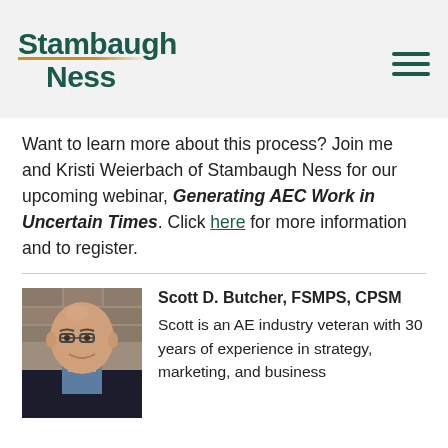[Figure (logo): Stambaugh Ness logo with green text and gold underline, plus hamburger menu icon on the right]
Want to learn more about this process? Join me and Kristi Weierbach of Stambaugh Ness for our upcoming webinar, Generating AEC Work in Uncertain Times. Click here for more information and to register.
[Figure (photo): Headshot of Scott D. Butcher, a bald man with glasses wearing a dark blazer]
Scott D. Butcher, FSMPS, CPSM
Scott is an AE industry veteran with 30 years of experience in strategy, marketing, and business